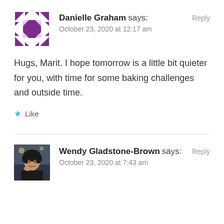[Figure (illustration): Purple quilt block avatar for Danielle Graham]
Danielle Graham says: Reply
October 23, 2020 at 12:17 am
Hugs, Marit. I hope tomorrow is a little bit quieter for you, with time for some baking challenges and outside time.
★ Like
[Figure (photo): Photo of Wendy Gladstone-Brown, a woman with dark curly hair resting her chin on her hand, in a restaurant or similar setting]
Wendy Gladstone-Brown says: Reply
October 23, 2020 at 7:43 am